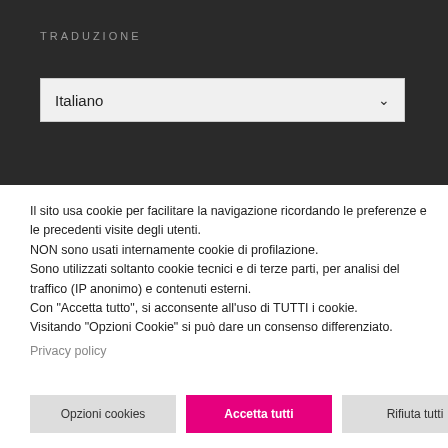TRADUZIONE
[Figure (screenshot): Dropdown selector showing 'Italiano' with a chevron arrow, set against a dark background panel labeled TRADUZIONE]
Il sito usa cookie per facilitare la navigazione ricordando le preferenze e le precedenti visite degli utenti.
NON sono usati internamente cookie di profilazione.
Sono utilizzati soltanto cookie tecnici e di terze parti, per analisi del traffico (IP anonimo) e contenuti esterni.
Con "Accetta tutto", si acconsente all'uso di TUTTI i cookie.
Visitando "Opzioni Cookie" si può dare un consenso differenziato.
Privacy policy
Opzioni cookies | Accetta tutti | Rifiuta tutti